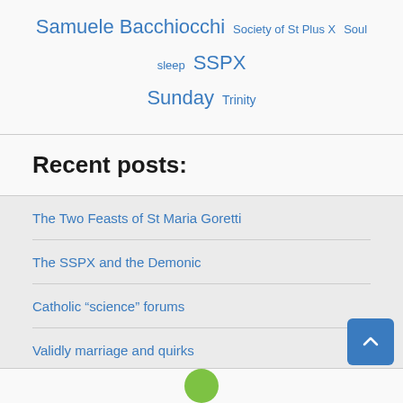Samuele Bacchiocchi  Society of St Plus X  Soul sleep  SSPX  Sunday  Trinity
Recent posts:
The Two Feasts of St Maria Goretti
The SSPX and the Demonic
Catholic “science” forums
Validly marriage and quirks
Mass Panic – On Limiting the Extraordinary Form